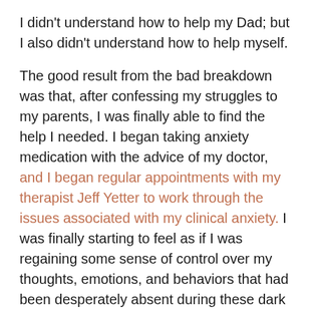I didn't understand how to help my Dad; but I also didn't understand how to help myself.
The good result from the bad breakdown was that, after confessing my struggles to my parents, I was finally able to find the help I needed. I began taking anxiety medication with the advice of my doctor, and I began regular appointments with my therapist Jeff Yetter to work through the issues associated with my clinical anxiety. I was finally starting to feel as if I was regaining some sense of control over my thoughts, emotions, and behaviors that had been desperately absent during these dark days.